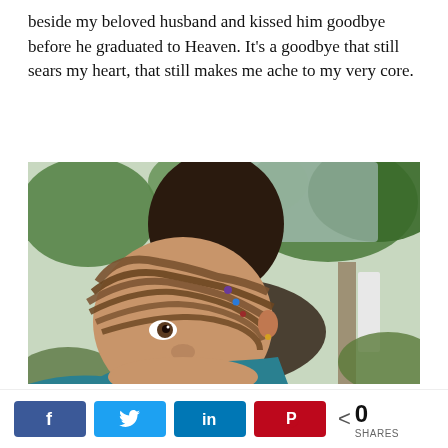beside my beloved husband and kissed him goodbye before he graduated to Heaven. It’s a goodbye that still sears my heart, that still makes me ache to my very core.
[Figure (photo): A close-up photo of two people outdoors. In the foreground, a young child with braided hair and small colorful beads looks toward the camera with a gentle expression. Behind the child, a taller person with a dark bald head is visible. Green trees and foliage appear in the background. The child wears a teal/blue top.]
< 0 SHARES